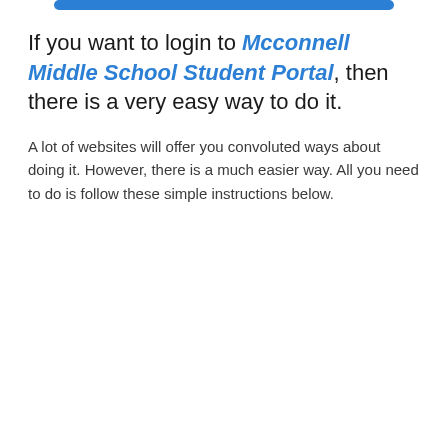[Figure (other): Blue rounded rectangle bar at the top of the page]
If you want to login to Mcconnell Middle School Student Portal, then there is a very easy way to do it.
A lot of websites will offer you convoluted ways about doing it. However, there is a much easier way. All you need to do is follow these simple instructions below.